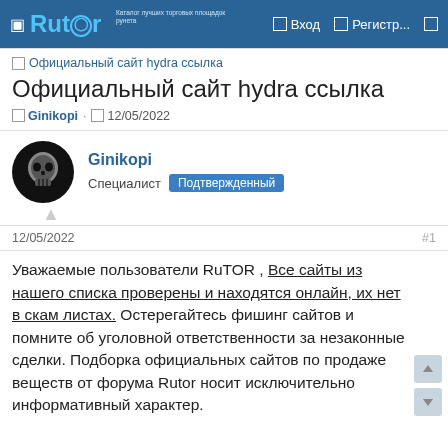☐ Rutor   Вход   Регистр...
☐ Официальный сайт hydra ссылка
Официальный сайт hydra ссылка
☐ Ginikopi · ☐ 12/05/2022
Ginikopi
Специалист  Подтвержденный
12/05/2022   #1
Уважаемые пользователи RuTOR , Все сайты из нашего списка проверены и находятся онлайн, их нет в скам листах. Остерегайтесь фишинг сайтов и помните об уголовной ответственности за незаконные сделки. Подборка официальных сайтов по продаже веществ от форума Rutor носит исключительно информативный характер.